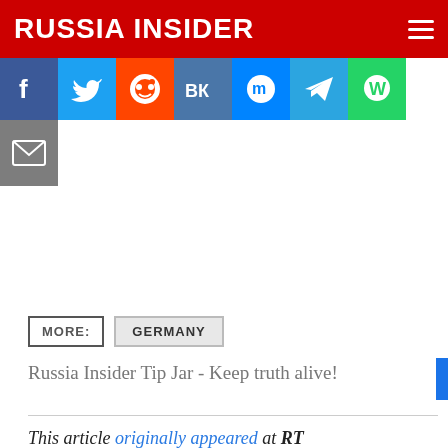RUSSIA INSIDER
[Figure (screenshot): Social media share buttons: Facebook (blue), Twitter (blue), Reddit (orange), VK (blue), Messenger (blue), Telegram (blue), WhatsApp (green), Email (gray)]
MORE: GERMANY
Russia Insider Tip Jar - Keep truth alive!
This article originally appeared at RT
A number of German politicians and opinion-makers have lately expressed concerns over the West's reactions to President Putin's policies. Although critical of Russian — German officials